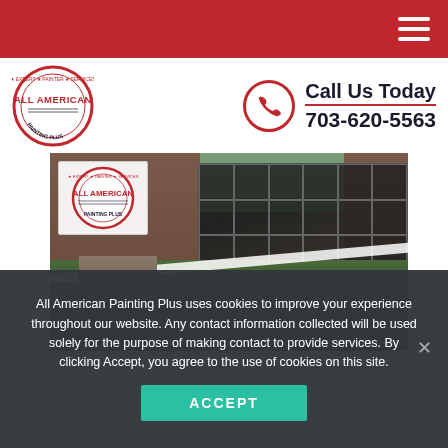Navigation menu header bar (red) with hamburger icon
[Figure (logo): All American Painting Plus circular logo with text EXPERT • PAINTER • SERVICES around border]
Call Us Today 703-620-5563
[Figure (photo): Exterior photo of a brick house with screened porch/enclosed patio area, staircase, and roof, with All American Painting Plus logo watermark overlay]
All American Painting Plus uses cookies to improve your experience throughout our website. Any contact information collected will be used solely for the purpose of making contact to provide services. By clicking Accept, you agree to the use of cookies on this site.
ACCEPT